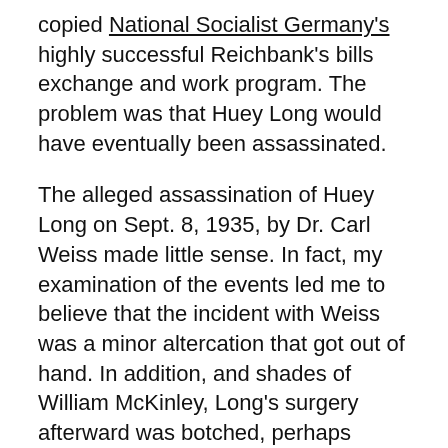copied National Socialist Germany's highly successful Reichbank's bills exchange and work program. The problem was that Huey Long would have eventually been assassinated.
The alleged assassination of Huey Long on Sept. 8, 1935, by Dr. Carl Weiss made little sense. In fact, my examination of the events led me to believe that the incident with Weiss was a minor altercation that got out of hand. In addition, and shades of William McKinley, Long's surgery afterward was botched, perhaps deliberately.
The Assassination of President McKinley: More Hidden History of the Usual Suspects
George Cortelyou, President McKinley's Assassination and the Panic of 1907